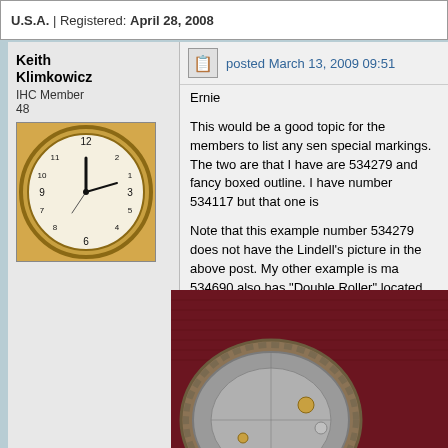U.S.A. | Registered: April 28, 2008
Keith Klimkowicz
IHC Member
48
posted March 13, 2009 09:51
Ernie
This would be a good topic for the members to list any special markings. The two are that I have are 534279 and fancy boxed outline. I have number 534117 but that one is
Note that this example number 534279 does not have the Lindell's picture in the above post. My other example is ma 534690 also has "Double Roller" located between the case
If we get enough examples we may be able to determine t range is determined the 345 will have a somewhat lower p numbers for both the Grade 337 and the Grade 345 that w
Keith
Shown here is 337 movement number 534279
[Figure (photo): Close-up photo of a watch movement showing gears and mechanical parts against a dark red/maroon fabric background]